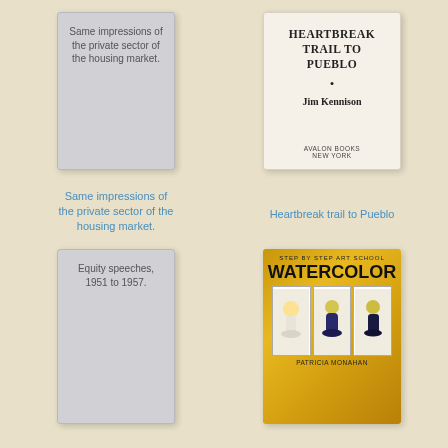[Figure (illustration): Gray book cover with text: Same impressions of the private sector of the housing market.]
[Figure (illustration): White book cover titled HEARTBREAK TRAIL TO PUEBLO by Jim Kennison, published by Avalon Books New York.]
Same impressions of the private sector of the housing market.
Heartbreak trail to Pueblo
[Figure (illustration): Gray book cover with text: Equity speeches, 1951 to 1957.]
[Figure (illustration): Gold book cover titled WATERCOLOR from Step by Step Art School series by Patricia Monahan, showing three panels with vases of flowers.]